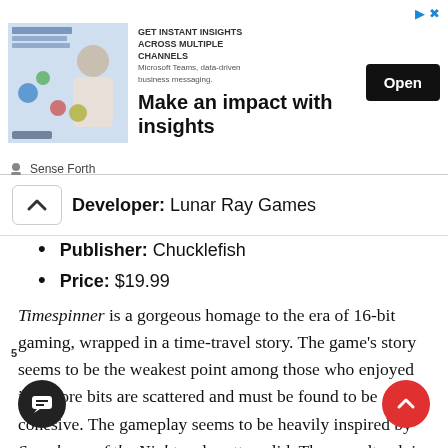[Figure (screenshot): Advertisement banner: image of woman with digital icons on left, text 'Make an impact with insights' in center, black 'Open' button on right. Small text at top-left reads 'GET INSTANT INSIGHTS ACROSS MULTIPLE CHANNELS'. Play and X icons top-right.]
Sense Forth
Developer: Lunar Ray Games
Publisher: Chucklefish
Price: $19.99
Timespinner is a gorgeous homage to the era of 16-bit gaming, wrapped in a time-travel story. The game's story seems to be the weakest point among those who enjoyed it, as lore bits are scattered and must be found to be cohesive. The gameplay seems to be heavily inspired by Symphony of the Night and pretty solid. The soundtrack is a high point for the game.